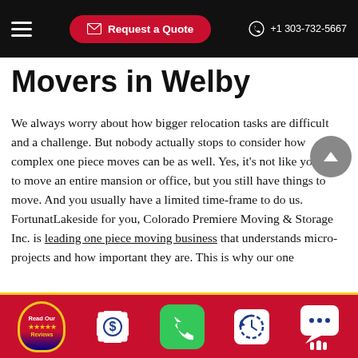Request a Quote | +1 303-732-5667
Movers in Welby
We always worry about how bigger relocation tasks are difficult and a challenge. But nobody actually stops to consider how complex one piece moves can be as well. Yes, it's not like you have to move an entire mansion or office, but you still have things to move. And you usually have a limited time-frame to do us. FortunatLakeside for you, Colorado Premiere Moving & Storage Inc. is leading one piece moving business that understands micro-projects and how important they are. This is why our one
[Figure (screenshot): Bottom mobile toolbar with icons: Read Our Reviews badge, dollar sign scanner icon, phone call icon, clock/history icon, chat icon]